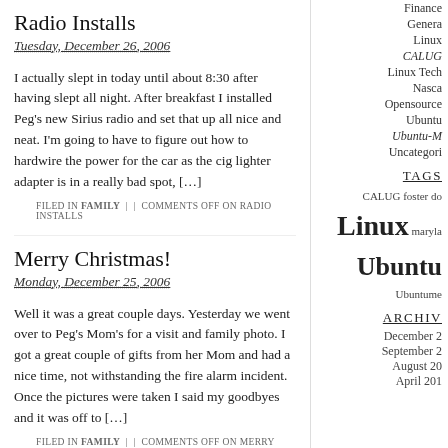Radio Installs
Tuesday, December 26, 2006
I actually slept in today until about 8:30 after having slept all night. After breakfast I installed Peg's new Sirius radio and set that up all nice and neat. I'm going to have to figure out how to hardwire the power for the car as the cig lighter adapter is in a really bad spot, […]
FILED IN FAMILY | | COMMENTS OFF ON RADIO INSTALLS
Merry Christmas!
Monday, December 25, 2006
Well it was a great couple days. Yesterday we went over to Peg's Mom's for a visit and family photo. I got a great couple of gifts from her Mom and had a nice time, not withstanding the fire alarm incident. Once the pictures were taken I said my goodbyes and it was off to […]
FILED IN FAMILY | | COMMENTS OFF ON MERRY CHRISTMAS!
Finance
General
Linux
CALUG
Linux Tech
Nascar
Opensource
Ubuntu
Ubuntu-M
Uncategori
TAGS
CALUG foster do Linux maryland Ubuntu Ubuntume
ARCHIV
December 2
September 2
August 20
April 201